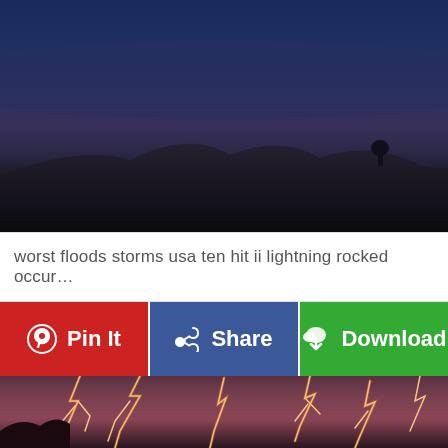[Figure (photo): Dark stormy sky over rocky landscape, dusky blue-grey tones with mountains silhouetted]
worst floods storms usa ten hit ii lightning rocked occur…
[Figure (infographic): Three social sharing buttons: red Pin It button with Pinterest logo, blue Share button with Facebook logo, green Download button with cloud/arrow icon]
[Figure (photo): Dramatic lightning storm photo showing multiple bright lightning bolts striking against dark reddish-orange storm clouds]